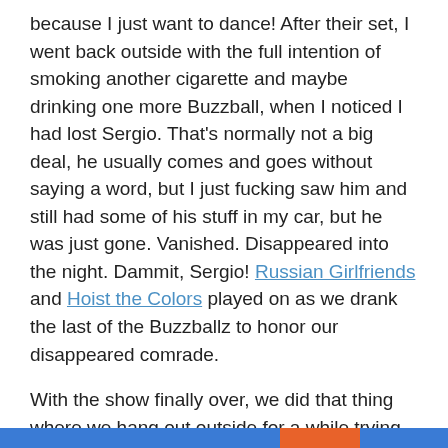because I just want to dance! After their set, I went back outside with the full intention of smoking another cigarette and maybe drinking one more Buzzball, when I noticed I had lost Sergio. That's normally not a big deal, he usually comes and goes without saying a word, but I just fucking saw him and still had some of his stuff in my car, but he was just gone. Vanished. Disappeared into the night. Dammit, Sergio! Russian Girlfriends and Hoist the Colors played on as we drank the last of the Buzzballz to honor our disappeared comrade.
With the show finally over, we did that thing where we hang out outside for a while trying our best to sober up enough to make it to our next destination. We stuck around for prolonged goodbyes and long chats about only god knows what until everyone felt comfortable enough to get the fuck out of there. Exhausted and ignoring the pleas of my